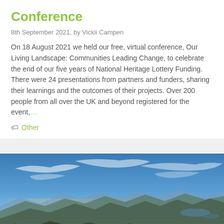Conference
8th September 2021, by Vickii Campen
On 18 August 2021 we held our free, virtual conference, Our Living Landscape: Communities Leading Change, to celebrate the end of our five years of National Heritage Lottery Funding. There were 24 presentations from partners and funders, sharing their learnings and the outcomes of their projects. Over 200 people from all over the UK and beyond registered for the event,…
Other
[Figure (photo): Panoramic landscape photo showing mountains and highlands under a dramatic sky with blue tones and golden light on the horizon, viewed from a rocky summit.]